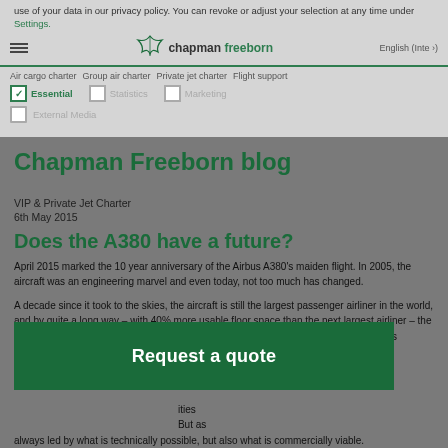use of your data in our privacy policy. You can revoke or adjust your selection at any time under Settings.
Chapman Freeborn | English (Inte...)
Air cargo charter  Group air charter  Private jet charter  Flight support
Essential  Statistics  Marketing  External Media
Chapman Freeborn blog
VIP & Private Jet Charter
6th May 2015
Does the A380 have a future?
April 2015 marked the 10 year anniversary of the Airbus A380's maiden flight. In 2005, the aircraft was an engineering marvel and even today, not too much has changed.
A decade since it took to the skies, the aircraft is still the largest passenger airliner in the world, and by quite a long way – with 40% more usable floor space than the next largest airliner – the Boeing 747-8. Capable of carrying an impressive 853 passengers in all-economy class accommodation, the A380 has a range of 15,700
...ilities ...But as ...s not always led by what is technically possible, but also what is commercially viable.
Request a quote